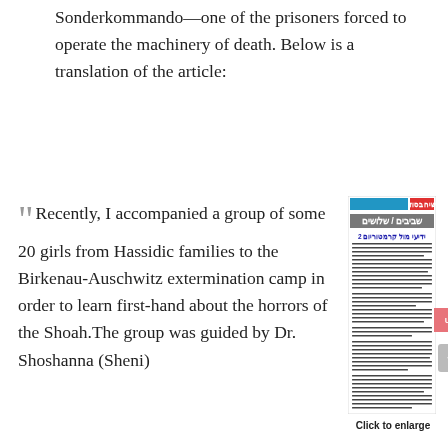Sonderkommando—one of the prisoners forced to operate the machinery of death. Below is a translation of the article:
“ Recently, I accompanied a group of some 20 girls from Hassidic families to the Birkenau-Auschwitz extermination camp in order to learn first-hand about the horrors of the Shoah. The group was guided by Dr. Shoshanna (Sheni)
[Figure (photo): Scanned Hebrew newspaper article with blue and red header reading 'Besod Siach' (בסוד שיח) and gray bar reading 'Shvivim / Shloshim' (שביבים / שלושים). The article is titled 'ידיעי מול קרמטוריום 2' with dense Hebrew text columns below.]
Click to enlarge